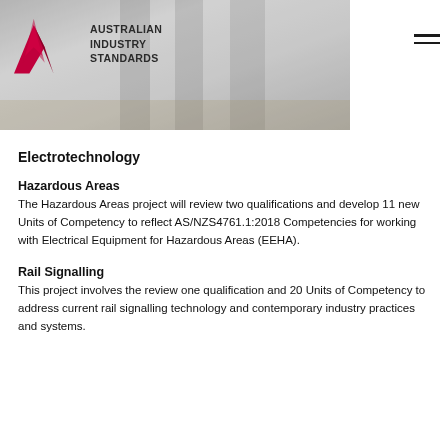[Figure (photo): Banner photo of workers in white coats walking on an industrial walkway, with the Australian Industry Standards logo overlaid on the left side, and a hamburger menu icon on the right.]
Electrotechnology
Hazardous Areas
The Hazardous Areas project will review two qualifications and develop 11 new Units of Competency to reflect AS/NZS4761.1:2018 Competencies for working with Electrical Equipment for Hazardous Areas (EEHA).
Rail Signalling
This project involves the review one qualification and 20 Units of Competency to address current rail signalling technology and contemporary industry practices and systems.